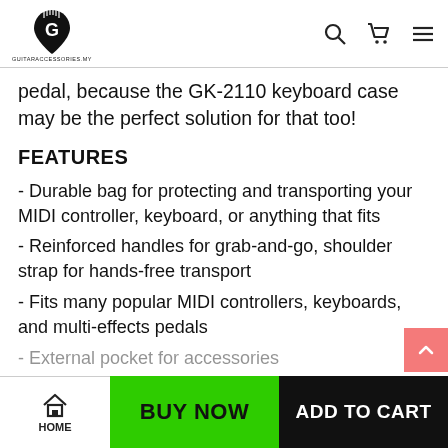GUITARACCESSORIES.MY
pedal, because the GK-2110 keyboard case may be the perfect solution for that too!
FEATURES
- Durable bag for protecting and transporting your MIDI controller, keyboard, or anything that fits
- Reinforced handles for grab-and-go, shoulder strap for hands-free transport
- Fits many popular MIDI controllers, keyboards, and multi-effects pedals
- External pocket for accessories
HOME | BUY NOW | ADD TO CART